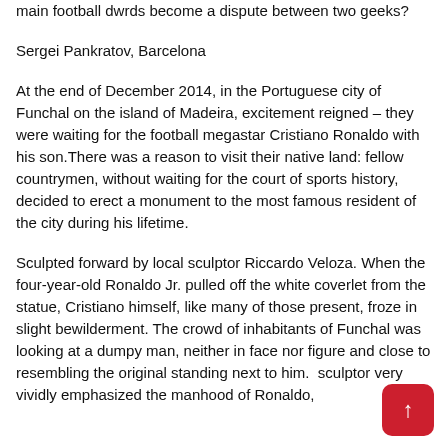main football dwrds become a dispute between two geeks?
Sergei Pankratov, Barcelona
At the end of December 2014, in the Portuguese city of Funchal on the island of Madeira, excitement reigned – they were waiting for the football megastar Cristiano Ronaldo with his son.There was a reason to visit their native land: fellow countrymen, without waiting for the court of sports history, decided to erect a monument to the most famous resident of the city during his lifetime.
Sculpted forward by local sculptor Riccardo Veloza. When the four-year-old Ronaldo Jr. pulled off the white coverlet from the statue, Cristiano himself, like many of those present, froze in slight bewilderment. The crowd of inhabitants of Funchal was looking at a dumpy man, neither in face nor figure and close to resembling the original standing next to him. sculptor very vividly emphasized the manhood of Ronaldo,